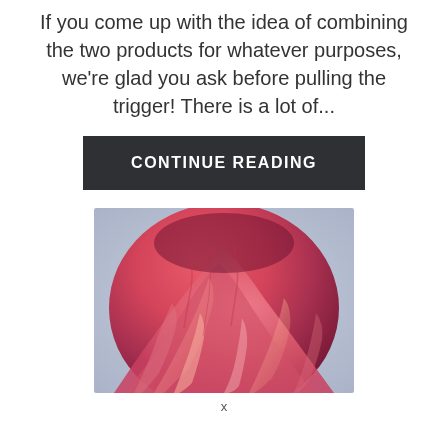If you come up with the idea of combining the two products for whatever purposes, we're glad you ask before pulling the trigger! There is a lot of...
CONTINUE READING
[Figure (photo): Close-up back view of wavy, voluminous hair styled in pink and red tones with highlights, against a light blue-grey background.]
x